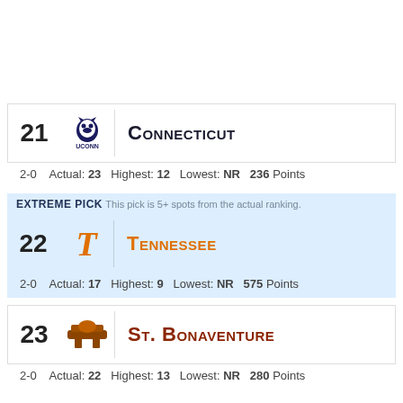| Rank | Logo | Team |
| --- | --- | --- |
| 21 | UConn | Connecticut |
| 22 | Tennessee | Tennessee |
| 23 | St. Bonaventure | St. Bonaventure |
2-0  Actual: 23 Highest: 12 Lowest: NR 236 Points
EXTREME PICK This pick is 5+ spots from the actual ranking.
2-0  Actual: 17 Highest: 9 Lowest: NR 575 Points
2-0  Actual: 22 Highest: 13 Lowest: NR 280 Points